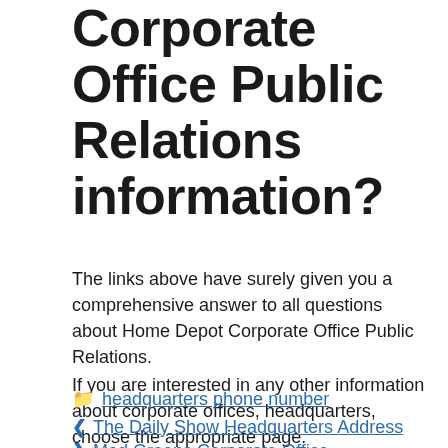Corporate Office Public Relations information?
The links above have surely given you a comprehensive answer to all questions about Home Depot Corporate Office Public Relations.
If you are interested in any other information about corporate offices, headquarters, choose the appropriate page.
headquarters phone number
The Daily Show Headquarters Address
Mad Greens Corporate Office